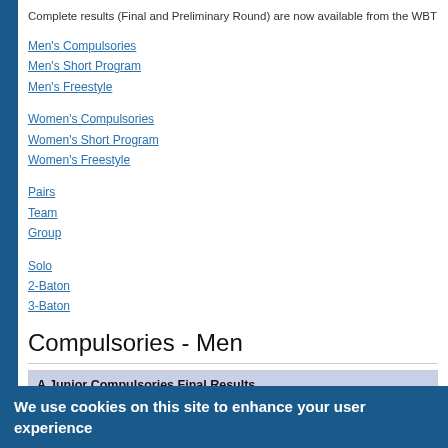Complete results (Final and Preliminary Round) are now available from the WBT
Men's Compulsories
Men's Short Program
Men's Freestyle
Women's Compulsories
Women's Short Program
Women's Freestyle
Pairs
Team
Group
Solo
2-Baton
3-Baton
Compulsories - Men
| A Junior Compulsories Final Results |  |  |
| --- | --- | --- |
| 1 | Matthew Johnson | Canada | 6.6355 |
We use cookies on this site to enhance your user experience